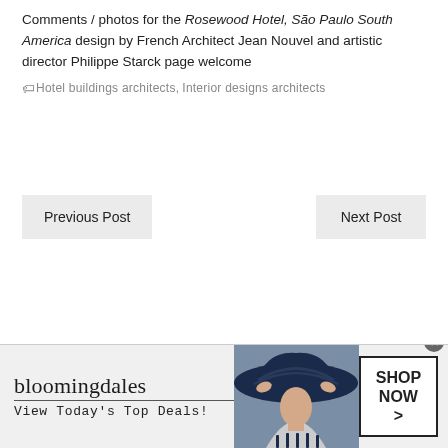Comments / photos for the Rosewood Hotel, São Paulo South America design by French Architect Jean Nouvel and artistic director Philippe Starck page welcome
Hotel buildings architects, Interior designs architects
Previous Post
Next Post
[Figure (illustration): Bloomingdale's advertisement banner showing logo, 'View Today's Top Deals!' tagline, a woman wearing a large dark hat, and a 'SHOP NOW >' button]